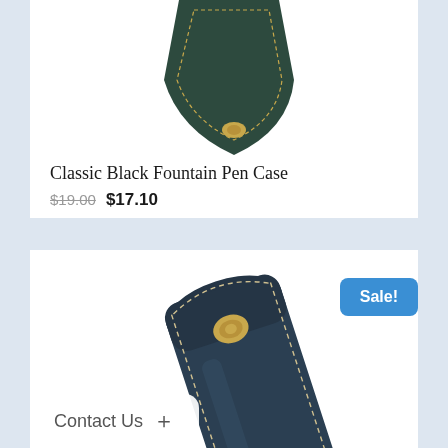[Figure (photo): Dark green leather fountain pen case, partially visible at top of first product card]
Classic Black Fountain Pen Case
$19.00 $17.10
[Figure (photo): Dark navy/teal leather pen case with gold snap button and stitching detail, shown angled, with blue Sale! badge]
Sale!
Contact Us +